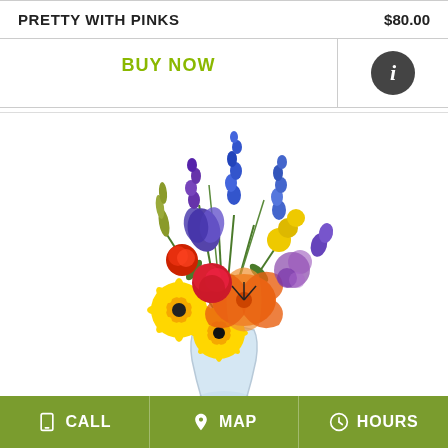PRETTY WITH PINKS    $80.00
BUY NOW
[Figure (photo): A colorful flower bouquet in a glass vase featuring yellow gerbera daisies, orange lilies, red flowers, purple iris, blue delphinium, yellow button flowers, purple statice, and greenery arranged in a tall vibrant arrangement.]
CALL   MAP   HOURS